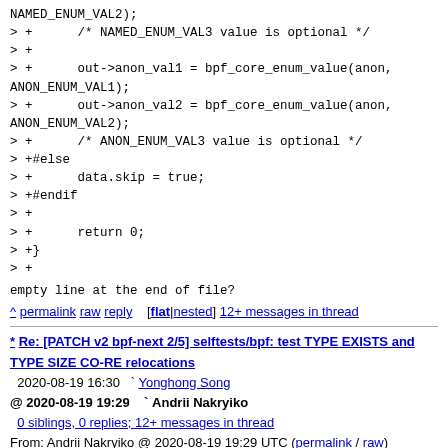NAMED_ENUM_VAL2);
> +      /* NAMED_ENUM_VAL3 value is optional */
> +
> +      out->anon_val1 = bpf_core_enum_value(anon, ANON_ENUM_VAL1);
> +      out->anon_val2 = bpf_core_enum_value(anon, ANON_ENUM_VAL2);
> +      /* ANON_ENUM_VAL3 value is optional */
> +#else
> +      data.skip = true;
> +#endif
> +
> +      return 0;
> +}
> +
empty line at the end of file?
^ permalink raw reply   [flat|nested] 12+ messages in thread
* Re: [PATCH v2 bpf-next 2/5] selftests/bpf: test TYPE EXISTS and TYPE SIZE CO-RE relocations
  2020-08-19 16:30  ` Yonghong Song
@ 2020-08-19 19:29    ` Andrii Nakryiko
  0 siblings, 0 replies; 12+ messages in thread
From: Andrii Nakryiko @ 2020-08-19 19:29 UTC (permalink / raw)
  To: Yonghong Song